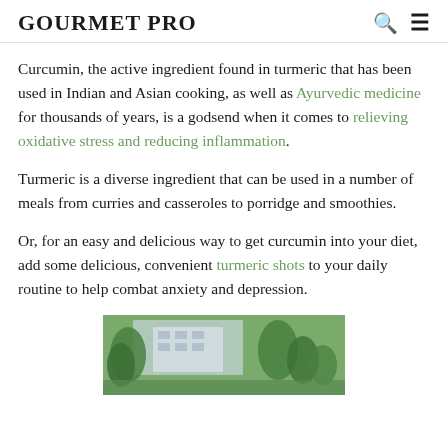GOURMET PRO
Curcumin, the active ingredient found in turmeric that has been used in Indian and Asian cooking, as well as Ayurvedic medicine for thousands of years, is a godsend when it comes to relieving oxidative stress and reducing inflammation.
Turmeric is a diverse ingredient that can be used in a number of meals from curries and casseroles to porridge and smoothies.
Or, for an easy and delicious way to get curcumin into your diet, add some delicious, convenient turmeric shots to your daily routine to help combat anxiety and depression.
[Figure (photo): Outdoor photo showing trees and a building, partially visible at the bottom of the page.]